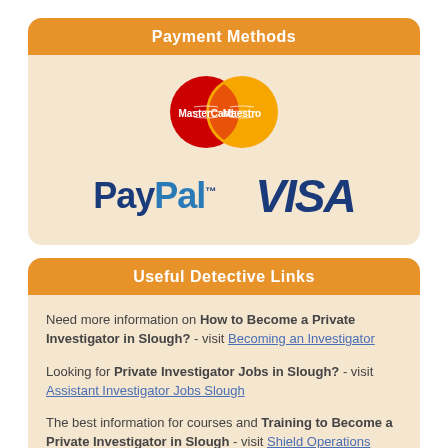Payment Methods
[Figure (logo): Payment method logos: MasterCard, Maestro, PayPal, VISA]
Useful Detective Links
Need more information on How to Become a Private Investigator in Slough? - visit Becoming an Investigator
Looking for Private Investigator Jobs in Slough? - visit Assistant Investigator Jobs Slough
The best information for courses and Training to Become a Private Investigator in Slough - visit Shield Operations Private...